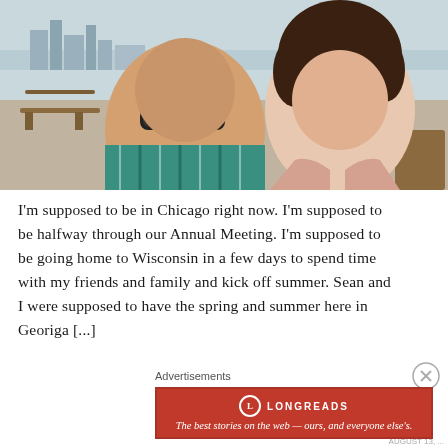[Figure (photo): A smiling couple taking a selfie outdoors near a waterfront area. The man on the left wears a plaid teal shirt and dark sunglasses; the woman on the right has curly hair and dark cat-eye sunglasses. A city skyline and picnic tables are visible in the background.]
I'm supposed to be in Chicago right now. I'm supposed to be halfway through our Annual Meeting. I'm supposed to be going home to Wisconsin in a few days to spend time with my friends and family and kick off summer. Sean and I were supposed to have the spring and summer here in Georiga [...]
Advertisements
[Figure (logo): Longreads advertisement banner. Red background with Longreads logo (L in a circle) and tagline: The best stories on the web — ours, and everyone else's.]